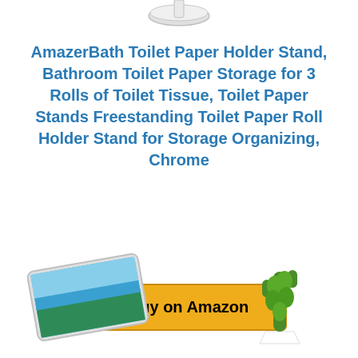[Figure (photo): Partial view of a toilet paper holder stand product at top of page (cropped)]
AmazerBath Toilet Paper Holder Stand, Bathroom Toilet Paper Storage for 3 Rolls of Toilet Tissue, Toilet Paper Stands Freestanding Toilet Paper Roll Holder Stand for Storage Organizing, Chrome
[Figure (screenshot): Buy on Amazon button with Amazon logo 'a' icon on yellow/gold background]
[Figure (photo): Bottom section showing a phone/tablet with beach scene and a small cactus in a white pot]